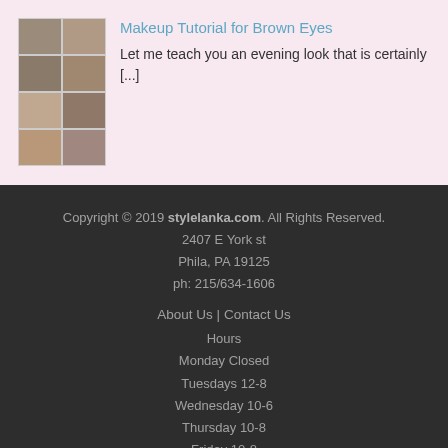[Figure (photo): Grid of eye makeup tutorial photos showing various brown eye looks in a 2x4 grid arrangement]
Makeup Tutorial for Brown Eyes
Let me teach you an evening look that is certainly [...]
Copyright © 2019 stylelanka.com. All Rights Reserved. 2407 E York st Phila, PA 19125 ph: 215/634-1606
About Us | Contact Us
Hours
Monday Closed
Tuesdays 12-8
Wednesday 10-6
Thursday 10-8
Friday 10-8
Saturday 10-6